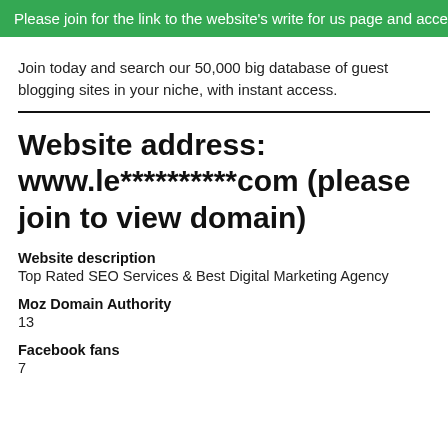Please join for the link to the website's write for us page and access to
Join today and search our 50,000 big database of guest blogging sites in your niche, with instant access.
Website address: www.le**********com (please join to view domain)
Website description
Top Rated SEO Services & Best Digital Marketing Agency
Moz Domain Authority
13
Facebook fans
7